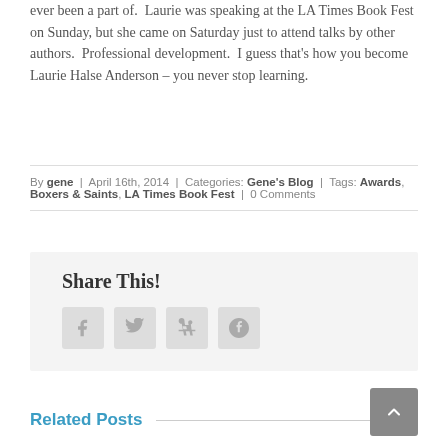ever been a part of.  Laurie was speaking at the LA Times Book Fest on Sunday, but she came on Saturday just to attend talks by other authors.  Professional development.  I guess that’s how you become Laurie Halse Anderson – you never stop learning.
By gene | April 16th, 2014 | Categories: Gene’s Blog | Tags: Awards, Boxers & Saints, LA Times Book Fest | 0 Comments
Share This!
[Figure (infographic): Four social media share buttons: Facebook (f), Twitter (bird), Tumblr (t), Pinterest (p) — displayed as gray rounded square icons]
Related Posts